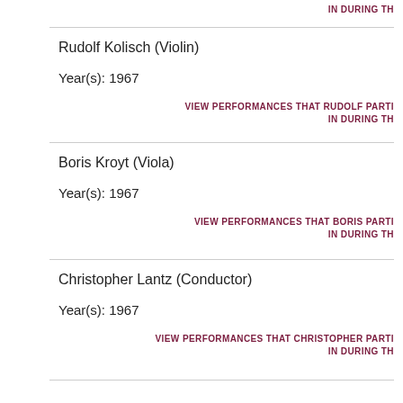IN DURING TH
Rudolf Kolisch (Violin)
Year(s): 1967
VIEW PERFORMANCES THAT RUDOLF PARTI IN DURING TH
Boris Kroyt (Viola)
Year(s): 1967
VIEW PERFORMANCES THAT BORIS PARTI IN DURING TH
Christopher Lantz (Conductor)
Year(s): 1967
VIEW PERFORMANCES THAT CHRISTOPHER PARTI IN DURING TH